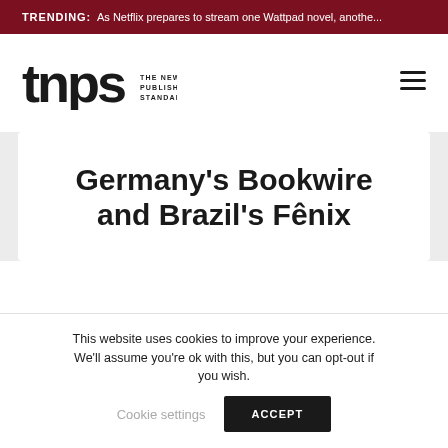TRENDING: As Netflix prepares to stream one Wattpad novel, anothe...
[Figure (logo): TNPS - The New Publishing Standard logo]
Germany's Bookwire and Brazil's Fênix
This website uses cookies to improve your experience. We'll assume you're ok with this, but you can opt-out if you wish. Cookie settings ACCEPT